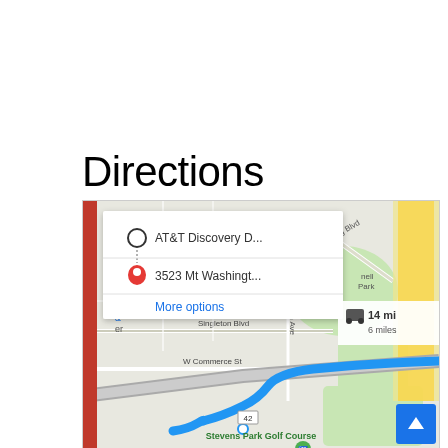Directions
[Figure (screenshot): Google Maps screenshot showing directions from AT&T Discovery D... to 3523 Mt Washingt... with a blue route line, showing 14 mi and 6 miles, passing near Singleton Blvd, W Commerce St, Stevens Park Golf Course, and KESSLER area. A directions popup shows origin and destination with a 'More options' link. A red vertical bar appears on the left side of the map.]